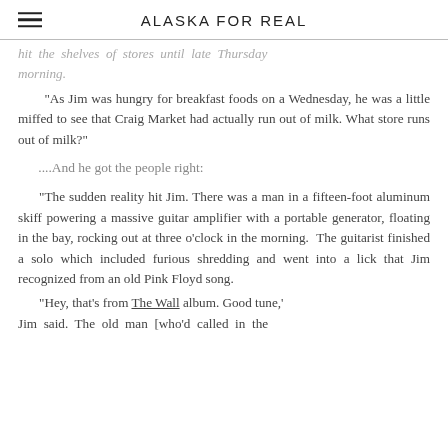ALASKA FOR REAL
hit the shelves of stores until late Thursday morning.
"As Jim was hungry for breakfast foods on a Wednesday, he was a little miffed to see that Craig Market had actually run out of milk. What store runs out of milk?"
....And he got the people right:
"The sudden reality hit Jim. There was a man in a fifteen-foot aluminum skiff powering a massive guitar amplifier with a portable generator, floating in the bay, rocking out at three o'clock in the morning. The guitarist finished a solo which included furious shredding and went into a lick that Jim recognized from an old Pink Floyd song.
'Hey, that's from The Wall album. Good tune,' Jim said. The old man [who'd called in the